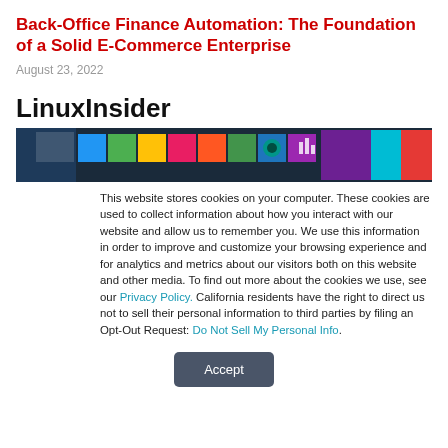Back-Office Finance Automation: The Foundation of a Solid E-Commerce Enterprise
August 23, 2022
LinuxInsider
[Figure (photo): Colorful keyboard keys banner image for LinuxInsider website]
This website stores cookies on your computer. These cookies are used to collect information about how you interact with our website and allow us to remember you. We use this information in order to improve and customize your browsing experience and for analytics and metrics about our visitors both on this website and other media. To find out more about the cookies we use, see our Privacy Policy. California residents have the right to direct us not to sell their personal information to third parties by filing an Opt-Out Request: Do Not Sell My Personal Info.